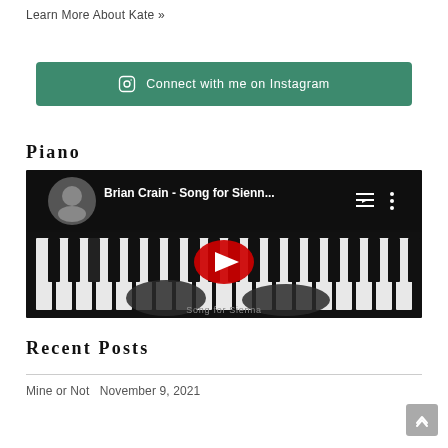Learn More About Kate »
[Figure (other): Green button: Connect with me on Instagram with Instagram icon]
Piano
[Figure (screenshot): YouTube video thumbnail: Brian Crain - Song for Sienn... showing piano keys and hands with YouTube play button overlay]
Recent Posts
Mine or Not November 9, 2021